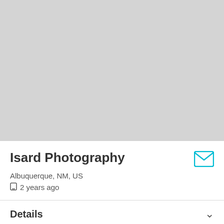Isard Photography
Albuquerque, NM, US
2 years ago
Details